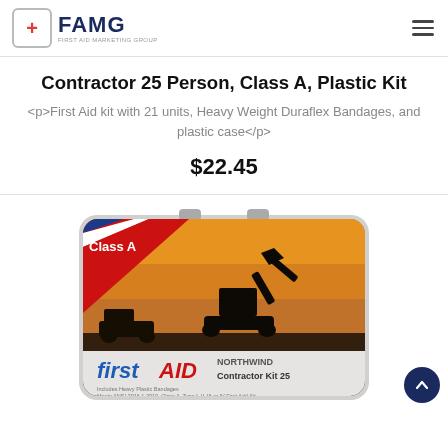FAMG FIRST AID MARKETING GROUP
Contractor 25 Person, Class A, Plastic Kit
<p>First Aid kit with 21 units, Heavy Weight Duraflex Bandages, and plastic case</p>
$22.45
[Figure (photo): First Aid Contractor Kit 25, Class A, Northwind brand, plastic case with construction equipment imagery on the label]